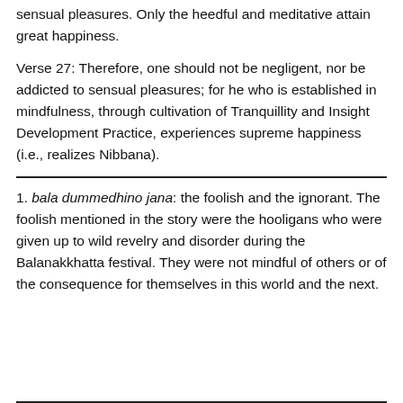sensual pleasures. Only the heedful and meditative attain great happiness.
Verse 27: Therefore, one should not be negligent, nor be addicted to sensual pleasures; for he who is established in mindfulness, through cultivation of Tranquillity and Insight Development Practice, experiences supreme happiness (i.e., realizes Nibbana).
1. bala dummedhino jana: the foolish and the ignorant. The foolish mentioned in the story were the hooligans who were given up to wild revelry and disorder during the Balanakkhatta festival. They were not mindful of others or of the consequence for themselves in this world and the next.